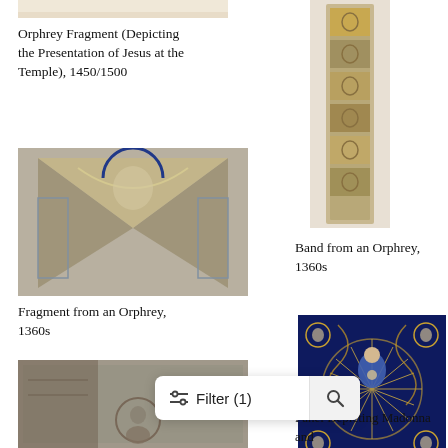[Figure (photo): Top portion of an orphrey fragment textile, cropped, showing beige/tan textile on light background]
Orphrey Fragment (Depicting the Presentation of Jesus at the Temple), 1450/1500
[Figure (photo): Narrow vertical band from an orphrey embroidery with religious figures, gold and colorful needlework, 1360s]
[Figure (photo): Fragment from an Orphrey showing winged figure embroidery with blue, gold, and red threads, 1360s]
Band from an Orphrey, 1360s
Fragment from an Orphrey, 1360s
[Figure (photo): Panel depicting Madonna and Child surrounded by angels and ornate gold floral patterns on dark blue background, 16th century]
[Figure (photo): Bottom-left textile fragment showing medieval embroidery with figure in roundel, partially visible]
Panel Depicting Madonna and Child, 16th century